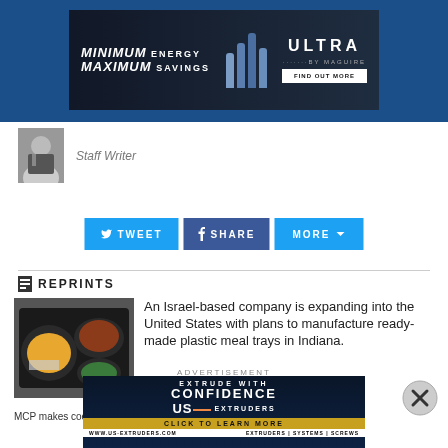[Figure (photo): Advertisement banner: MINIMUM ENERGY MAXIMUM SAVINGS - ULTRA BY MAGUIRE - FIND OUT MORE]
Staff Writer
[Figure (photo): Author headshot photo - man in suit]
[Figure (other): Social sharing buttons: TWEET, SHARE, MORE]
REPRINTS
[Figure (photo): Meal tray with food items - ready-made plastic meal tray]
An Israel-based company is expanding into the United States with plans to manufacture ready-made plastic meal trays in Indiana.
MCP makes coextruded thermopla
ADVERTISEMENT
[Figure (photo): US Extruders advertisement: EXTRUDE WITH CONFIDENCE - USE EXTRUDERS - CLICK TO LEARN MORE - www.us-extruders.com]